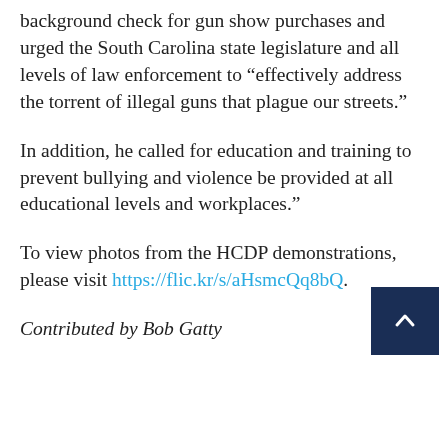background check for gun show purchases and urged the South Carolina state legislature and all levels of law enforcement to “effectively address the torrent of illegal guns that plague our streets.”
In addition, he called for education and training to prevent bullying and violence be provided at all educational levels and workplaces.”
To view photos from the HCDP demonstrations, please visit https://flic.kr/s/aHsmcQq8bQ.
Contributed by Bob Gatty